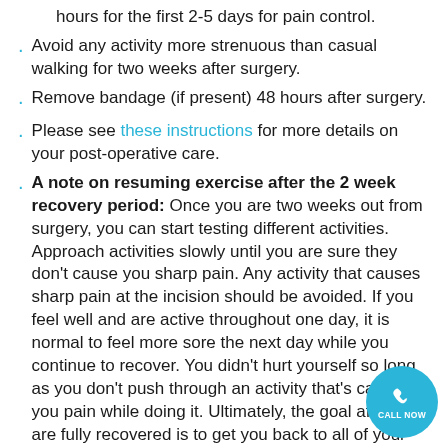hours for the first 2-5 days for pain control.
Avoid any activity more strenuous than casual walking for two weeks after surgery.
Remove bandage (if present) 48 hours after surgery.
Please see these instructions for more details on your post-operative care.
A note on resuming exercise after the 2 week recovery period: Once you are two weeks out from surgery, you can start testing different activities. Approach activities slowly until you are sure they don't cause you sharp pain. Any activity that causes sharp pain at the incision should be avoided. If you feel well and are active throughout one day, it is normal to feel more sore the next day while you continue to recover. You didn't hurt yourself so long as you don't push through an activity that's causing you pain while doing it. Ultimately, the goal after you are fully recovered is to get you back to all of your activities without restriction. For most of our patients who had this type of surgery, they are back to most of their pre-op